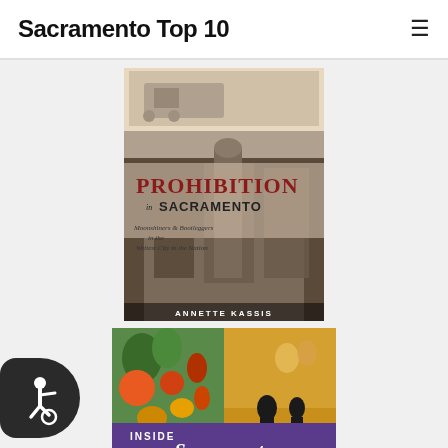Sacramento Top 10
[Figure (illustration): Book cover: Prohibition in Sacramento – Moonshiners & Bootleggers in the Wettest City in the Nation by Annette Kassis. Black and white historical street scene with sepia tones.]
[Figure (illustration): Book cover: Inside Sacramento – The most interesting neighborhood places in America's farm-to-fork capital. Cover shows vegetables and vintage California festival imagery.]
[Figure (logo): Accessibility icon badge – dark rounded rectangle with wheelchair accessibility symbol in white.]